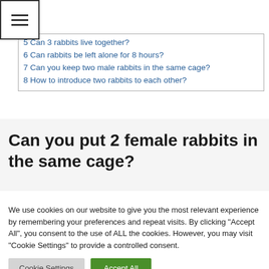≡
5 Can 3 rabbits live together?
6 Can rabbits be left alone for 8 hours?
7 Can you keep two male rabbits in the same cage?
8 How to introduce two rabbits to each other?
Can you put 2 female rabbits in the same cage?
We use cookies on our website to give you the most relevant experience by remembering your preferences and repeat visits. By clicking "Accept All", you consent to the use of ALL the cookies. However, you may visit "Cookie Settings" to provide a controlled consent.